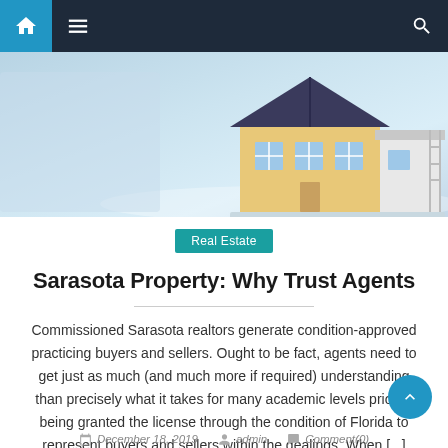Navigation bar with home, menu, and search icons
[Figure (photo): Hero image showing architectural house models on a reflective surface with a blurred background]
Real Estate
Sarasota Property: Why Trust Agents
Commissioned Sarasota realtors generate condition-approved practicing buyers and sellers. Ought to be fact, agents need to get just as much (and much more if required) understanding than precisely what it takes for many academic levels prior to being granted the license through the condition of Florida to represent buyers and sellers within the dealings. When [...]
December 18, 2019  admin  Comment(0)